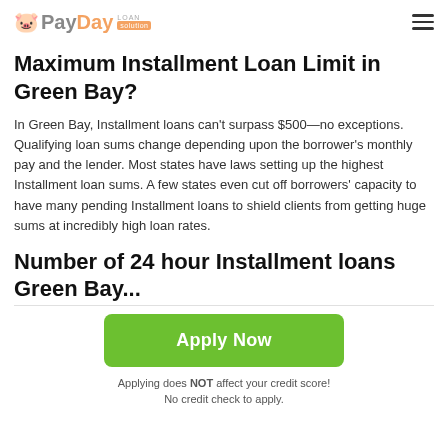PayDay Loan Solution
Maximum Installment Loan Limit in Green Bay?
In Green Bay, Installment loans can't surpass $500—no exceptions. Qualifying loan sums change depending upon the borrower's monthly pay and the lender. Most states have laws setting up the highest Installment loan sums. A few states even cut off borrowers' capacity to have many pending Installment loans to shield clients from getting huge sums at incredibly high loan rates.
Number of 24 hour Installment loans Green Bay and the Cut off...
Apply Now
Applying does NOT affect your credit score!
No credit check to apply.